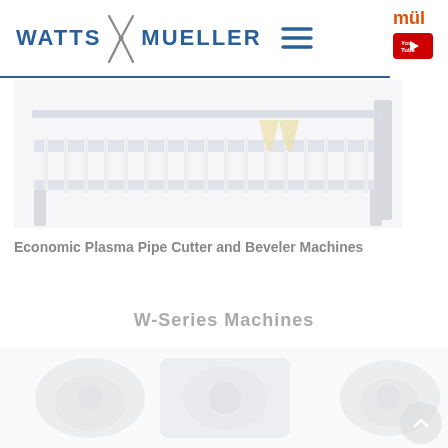[Figure (logo): Watts Mueller logo with scissors icon and hamburger menu, partial 'mül' text with YouTube button on right]
[Figure (photo): Industrial plasma pipe cutter table/rack machine, showing a metal roller conveyor frame with yellow guide supports, faded/washed out appearance]
Economic Plasma Pipe Cutter and Beveler Machines
W-Series Machines
[Figure (photo): Thumbnail images of W-Series machines (faded), with a scroll-to-top circular button visible bottom right]